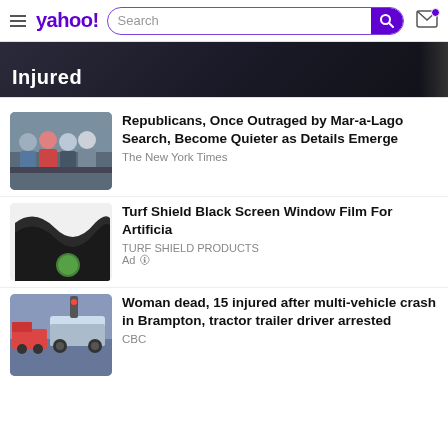yahoo! Search
[Figure (screenshot): Partial hero image with dark background showing the word 'injured' in white bold text]
Republicans, Once Outraged by Mar-a-Lago Search, Become Quieter as Details Emerge
The New York Times
Turf Shield Black Screen Window Film For Artificia
TURF SHIELD PRODUCTS
Ad
Woman dead, 15 injured after multi-vehicle crash in Brampton, tractor trailer driver arrested
CBC